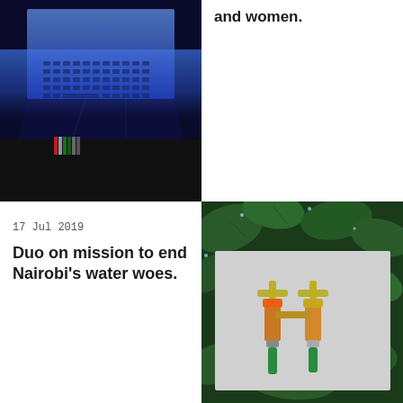[Figure (photo): Glowing blue laptop keyboard viewed from an angle in the dark]
and women.
17 Jul 2019
Duo on mission to end Nairobi's water woes.
[Figure (photo): Water tap fittings (orange and brass connectors with green hose) against a grey background surrounded by dark green leaves]
[Figure (photo): Black and white photo of a curved highway overpass/flyover bridge from below]
17 Jul 2019
Towards a sustainable future: new, gentler ways to construct future project...